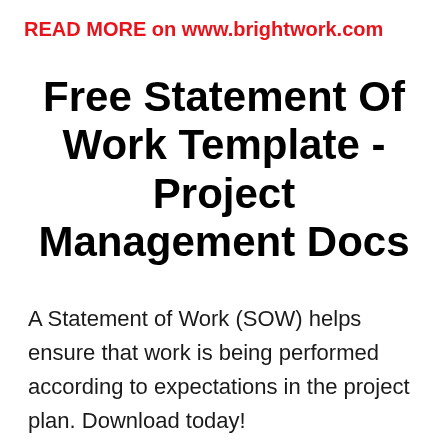READ MORE on www.brightwork.com
Free Statement Of Work Template - Project Management Docs
A Statement of Work (SOW) helps ensure that work is being performed according to expectations in the project plan. Download today!
READ MORE on www.projectmanagementdocs.com